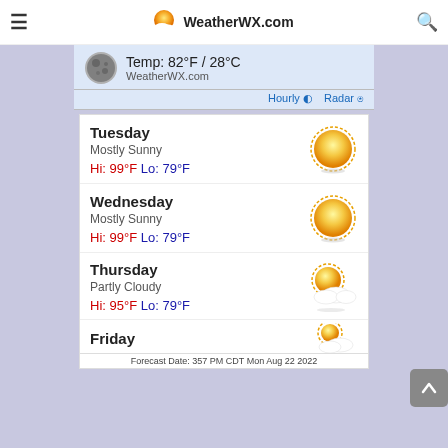WeatherWX.com
Temp: 82°F / 28°C
WeatherWX.com
Hourly  Radar
Tuesday
Mostly Sunny
Hi: 99°F Lo: 79°F
Wednesday
Mostly Sunny
Hi: 99°F Lo: 79°F
Thursday
Partly Cloudy
Hi: 95°F Lo: 79°F
Friday
Forecast Date: 357 PM CDT Mon Aug 22 2022